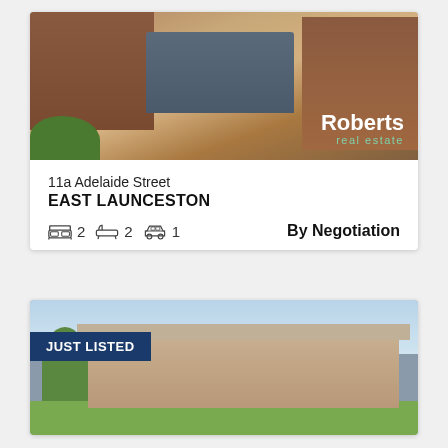[Figure (photo): Aerial/elevated photo of a brick house with blue garage door, paved driveway, and Roberts Real Estate logo overlay]
11a Adelaide Street
EAST LAUNCESTON
2 bedrooms, 2 bathrooms, 1 car garage — By Negotiation
[Figure (photo): Photo of a brick house with pitched roof and front lawn, with JUST LISTED badge overlay]